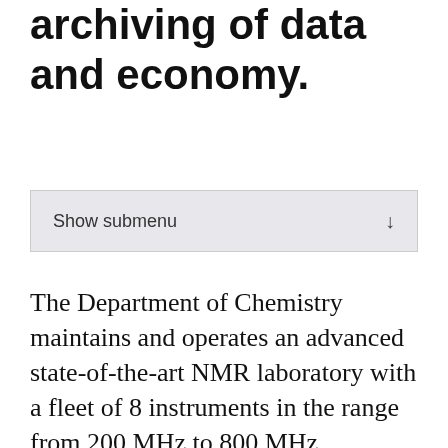Oslo NMR Instruments, archiving of data and economy.
Show submenu
The Department of Chemistry maintains and operates an advanced state-of-the-art NMR laboratory with a fleet of 8 instruments in the range from 200 MHz to 800 MHz.